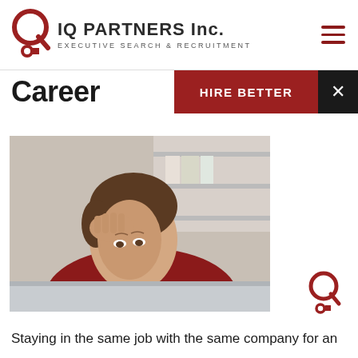IQ PARTNERS Inc. EXECUTIVE SEARCH & RECRUITMENT
Career
HIRE BETTER
[Figure (photo): Person with hand on forehead looking stressed at a computer screen]
[Figure (logo): IQ Partners circular logo mark (small, bottom right)]
Staying in the same job with the same company for an